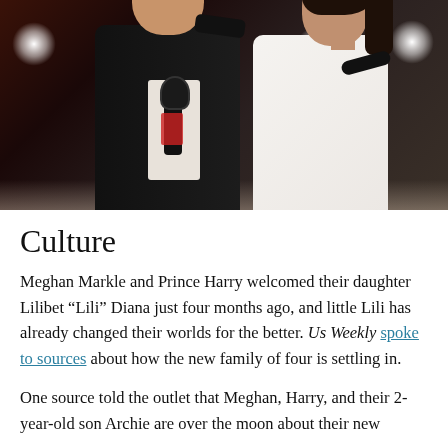[Figure (photo): Prince Harry and Meghan Markle standing together on a stage with bright stage lights behind them. Harry is wearing a dark suit holding a microphone, Meghan is in a white dress, both smiling.]
Culture
Meghan Markle and Prince Harry welcomed their daughter Lilibet “Lili” Diana just four months ago, and little Lili has already changed their worlds for the better. Us Weekly spoke to sources about how the new family of four is settling in.
One source told the outlet that Meghan, Harry, and their 2-year-old son Archie are over the moon about their new